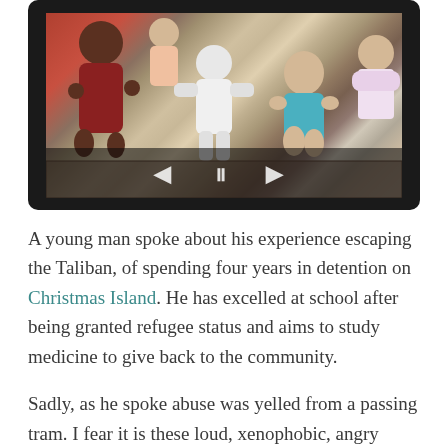[Figure (photo): A video player embedded in a dark rounded-corner frame showing a collection of baby dolls arranged on a patterned surface. The video player has playback controls (back, pause, forward) overlaid at the bottom center of the image.]
A young man spoke about his experience escaping the Taliban, of spending four years in detention on Christmas Island. He has excelled at school after being granted refugee status and aims to study medicine to give back to the community.
Sadly, as he spoke abuse was yelled from a passing tram. I fear it is these loud, xenophobic, angry voices